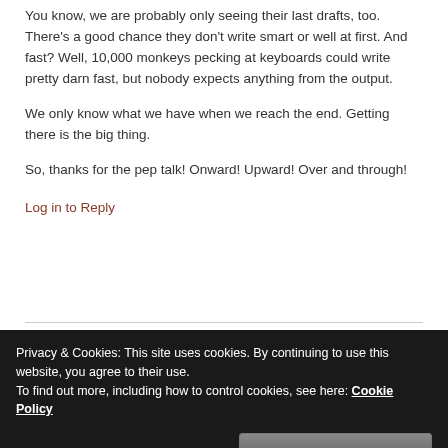You know, we are probably only seeing their last drafts, too. There's a good chance they don't write smart or well at first. And fast? Well, 10,000 monkeys pecking at keyboards could write pretty darn fast, but nobody expects anything from the output.

We only know what we have when we reach the end. Getting there is the big thing.

So, thanks for the pep talk! Onward! Upward! Over and through!
Log in to Reply
Privacy & Cookies: This site uses cookies. By continuing to use this website, you agree to their use.
To find out more, including how to control cookies, see here: Cookie Policy